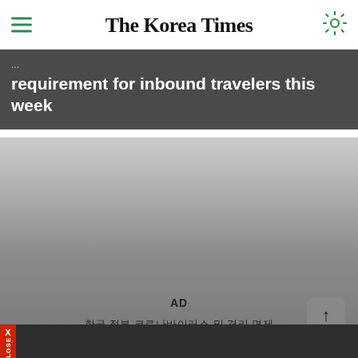The Korea Times
requirement for inbound travelers this week
[Figure (screenshot): Advertisement/video area with gradient gray background showing 'AD' label and Korean text]
AD
한국 정부 코로나바이러스 및 격리 면제